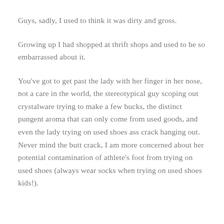Guys, sadly, I used to think it was dirty and gross.
Growing up I had shopped at thrift shops and used to be so embarrassed about it.
You've got to get past the lady with her finger in her nose, not a care in the world, the stereotypical guy scoping out crystalware trying to make a few bucks, the distinct pungent aroma that can only come from used goods, and even the lady trying on used shoes ass crack hanging out. Never mind the butt crack, I am more concerned about her potential contamination of athlete's foot from trying on used shoes (always wear socks when trying on used shoes kids!).